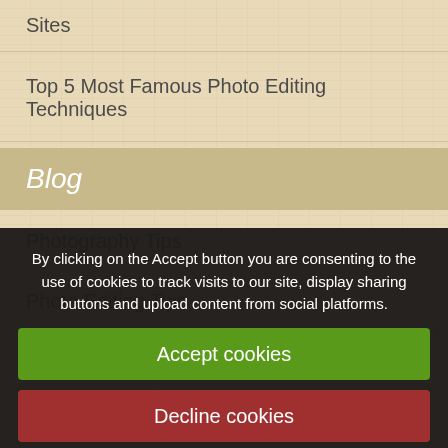Sites
Top 5 Most Famous Photo Editing Techniques
Blog
Photography Tips
Photo Editing Tips
By clicking on the Accept button you are consenting to the use of cookies to track visits to our site, display sharing buttons and upload content from social platforms.
Accept cookies
Decline cookies